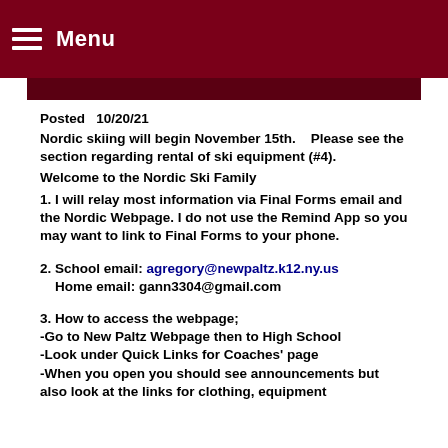Menu
Posted   10/20/21
Nordic skiing will begin November 15th.    Please see the section regarding rental of ski equipment (#4).
Welcome to the Nordic Ski Family
1. I will relay most information via Final Forms email and the Nordic Webpage. I do not use the Remind App so you may want to link to Final Forms to your phone.
2. School email: agregory@newpaltz.k12.ny.us
   Home email: gann3304@gmail.com
3. How to access the webpage;
-Go to New Paltz Webpage then to High School
-Look under Quick Links for Coaches' page
-When you open you should see announcements but also look at the links for clothing, equipment